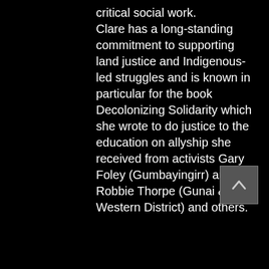critical social work. Clare has a long-standing commitment to supporting land justice and Indigenous-led struggles and is known in particular for the book Decolonizing Solidarity which she wrote to do justice to the education on allyship she received from activists Gary Foley (Gumbayingirr) and Robbie Thorpe (Gunai & Western District) and others.
[Figure (other): A scroll-to-top button with an upward-pointing chevron arrow, dark grey background with lighter grey border]